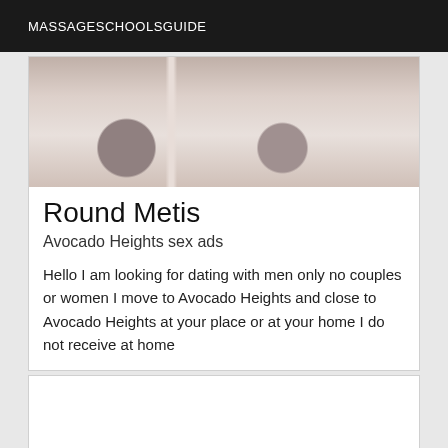MASSAGESCHOOLSGUIDE
[Figure (photo): Bathroom/shower area photo showing shower fixtures and tiles, blurry/close-up shot]
Round Metis
Avocado Heights sex ads
Hello I am looking for dating with men only no couples or women I move to Avocado Heights and close to Avocado Heights at your place or at your home I do not receive at home